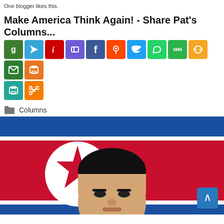One blogger likes this.
Make America Think Again! - Share Pat's Columns...
[Figure (infographic): Social media share buttons row: g (green), Telegram (blue), instapaper (red), parking/pocket (purple), Facebook (blue), Reddit (orange), Twitter (blue), WhatsApp (green), SMS (green), link (yellow), email (dark green), print (orange/gray), print (teal), share (orange)]
Columns
[Figure (photo): Photo of Kim Jong-un in front of North Korean flag (blue stripe top, red field with white circle and red star center). Person's face fills lower half of image.]